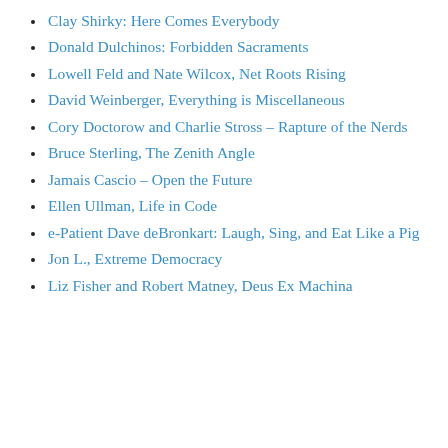Clay Shirky: Here Comes Everybody
Donald Dulchinos: Forbidden Sacraments
Lowell Feld and Nate Wilcox, Net Roots Rising
David Weinberger, Everything is Miscellaneous
Cory Doctorow and Charlie Stross – Rapture of the Nerds
Bruce Sterling, The Zenith Angle
Jamais Cascio – Open the Future
Ellen Ullman, Life in Code
e-Patient Dave deBronkart: Laugh, Sing, and Eat Like a Pig
Jon L., Extreme Democracy
Liz Fisher and Robert Matney, Deus Ex Machina